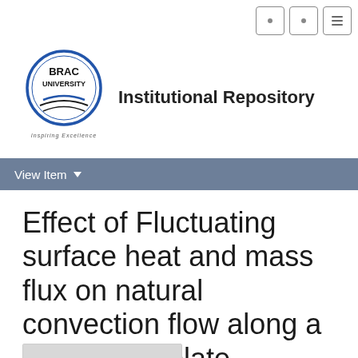[Figure (logo): BRAC University logo — circular blue border with text 'BRAC UNIVERSITY' and a stylized open book/wave icon, with 'Inspiring Excellence' tagline below]
Institutional Repository
View Item
Effect of Fluctuating surface heat and mass flux on natural convection flow along a vertical flat plate
[Figure (other): Thumbnail preview image placeholder (light grey rectangle)]